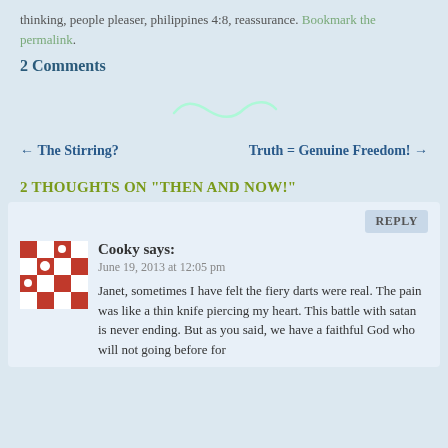thinking, people pleaser, philippines 4:8, reassurance. Bookmark the permalink.
2 Comments
[Figure (illustration): Decorative squiggle/tilde divider symbol in light teal]
← The Stirring?
Truth = Genuine Freedom! →
2 THOUGHTS ON "THEN AND NOW!"
REPLY
Cooky says:
June 19, 2013 at 12:05 pm
Janet, sometimes I have felt the fiery darts were real. The pain was like a thin knife piercing my heart. This battle with satan is never ending. But as you said, we have a faithful God who will not going before for